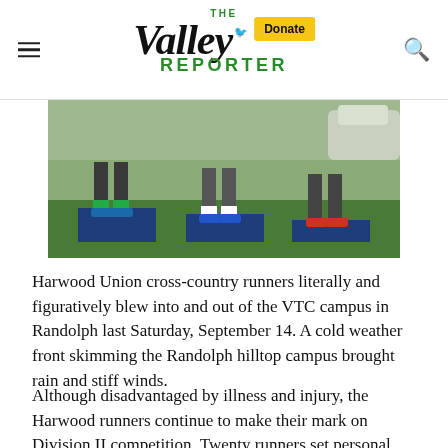The Valley Reporter
[Figure (photo): Runners standing on blue podium blocks on a grass field, lower bodies and feet visible, wearing colorful running shoes]
Harwood Union cross-country runners literally and figuratively blew into and out of the VTC campus in Randolph last Saturday, September 14. A cold weather front skimming the Randolph hilltop campus brought rain and stiff winds.
Although disadvantaged by illness and injury, the Harwood runners continue to make their mark on Division II competition. Twenty runners set personal records (PRs) or their best times ever.